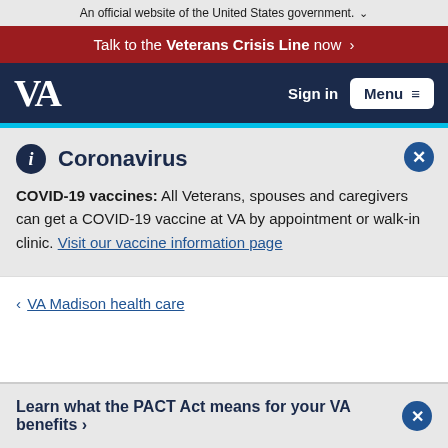An official website of the United States government. ˅
Talk to the Veterans Crisis Line now ›
VA | Sign in | Menu
Coronavirus
COVID-19 vaccines: All Veterans, spouses and caregivers can get a COVID-19 vaccine at VA by appointment or walk-in clinic. Visit our vaccine information page
‹ VA Madison health care
Learn what the PACT Act means for your VA benefits ›